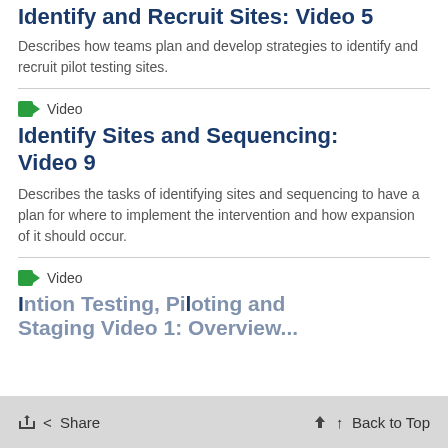Identify and Recruit Sites: Video 5
Describes how teams plan and develop strategies to identify and recruit pilot testing sites.
Video
Identify Sites and Sequencing: Video 9
Describes the tasks of identifying sites and sequencing to have a plan for where to implement the intervention and how expansion of it should occur.
Video
Intervention Testing, Piloting and Staging Video 1: Overview...
< Share     ↑ Back to Top